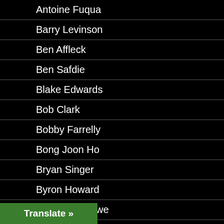Antoine Fuqua
Barry Levinson
Ben Affleck
Ben Safdie
Blake Edwards
Bob Clark
Bobby Farrelly
Bong Joon Ho
Bryan Singer
Byron Howard
Cameron Crowe
Carlos Galettini
Translate »